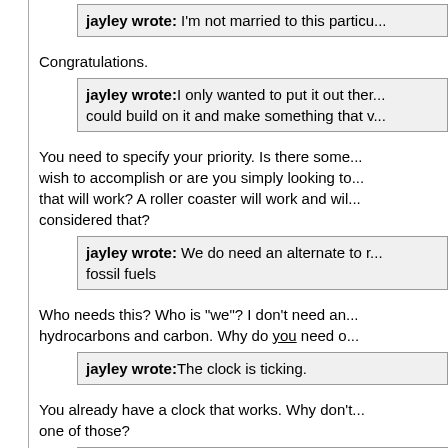jayley wrote: I'm not married to this particu...
Congratulations.
jayley wrote: I only wanted to put it out there so someone could build on it and make something that w...
You need to specify your priority. Is there some... wish to accomplish or are you simply looking to... that will work? A roller coaster will work and wil... considered that?
jayley wrote: We do need an alternate to r... fossil fuels
Who needs this? Who is "we"? I don't need an... hydrocarbons and carbon. Why do you need o...
jayley wrote: The clock is ticking.
You already have a clock that works. Why don't... one of those?
jayley wrote: One other thing. The lower re...